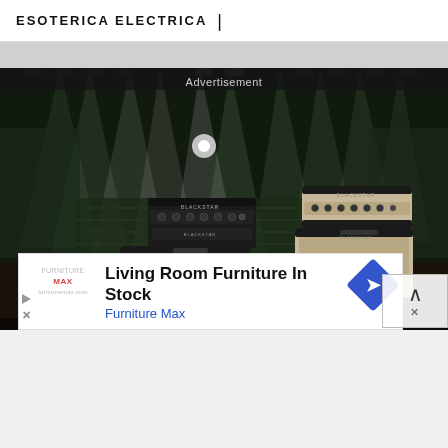ESOTERICA ELECTRICA  |
[Figure (photo): Advertisement banner showing guitar amplifiers (Blackstar brand) arranged on a concert stage with dramatic green/white stage lighting from above. Multiple amp heads and cabinets in black and tan/beige tolex visible.]
Advertisement
Living Room Furniture In Stock
Furniture Max